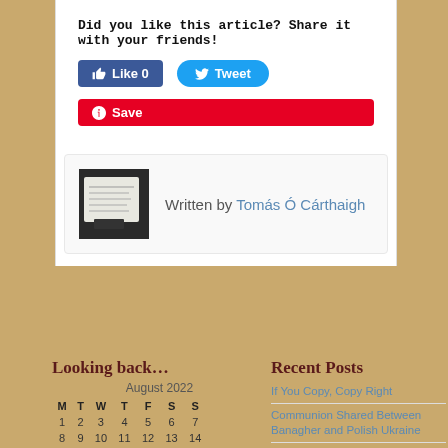Did you like this article? Share it with your friends!
[Figure (screenshot): Facebook Like button (blue, count 0) and Twitter Tweet button (blue rounded)]
[Figure (screenshot): Pinterest Save button (red)]
[Figure (photo): Author photo thumbnail showing a hand-written document]
Written by Tomás Ó Cárthaigh
Looking back...
| M | T | W | T | F | S | S |
| --- | --- | --- | --- | --- | --- | --- |
| 1 | 2 | 3 | 4 | 5 | 6 | 7 |
| 8 | 9 | 10 | 11 | 12 | 13 | 14 |
Recent Posts
If You Copy, Copy Right
Communion Shared Between Banagher and Polish Ukraine
The Soul...